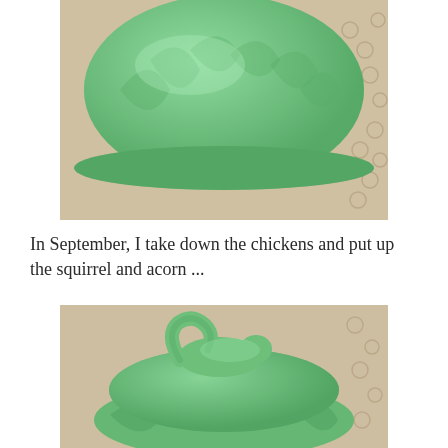[Figure (photo): Close-up photo of a jade green glass decorative dish or bowl with ridged/feathered pattern, sitting on a white crocheted doily]
In September, I take down the chickens and put up the squirrel and acorn ...
[Figure (photo): Photo of a jade green glass acorn-shaped covered dish with a squirrel figurine on top, sitting on a white crocheted doily]